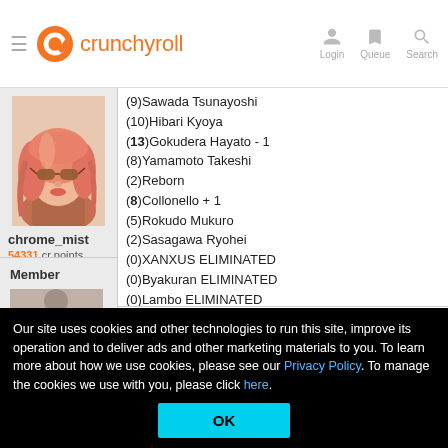crunchyroll — Login, Queue, Search
[Figure (photo): Profile photo of a woman with red/orange wavy hair and sunglasses]
chrome_mist
54331 cr points
Send Message:
29 / F / Under your skin.
Offline
(9)Sawada Tsunayoshi
(10)Hibari Kyoya
(13)Gokudera Hayato - 1
(8)Yamamoto Takeshi
(2)Reborn
(8)Collonello + 1
(5)Rokudo Mukuro
(2)Sasagawa Ryohei
(0)XANXUS ELIMINATED
(0)Byakuran ELIMINATED
(0)Lambo ELIMINATED
Will you still love me when I'm no longer your
Member
Posted 7/14/09 , edited 7/14/09
Our site uses cookies and other technologies to run this site, improve its operation and to deliver ads and other marketing materials to you. To learn more about how we use cookies, please see our Privacy Policy. To manage the cookies we use with you, please click here.